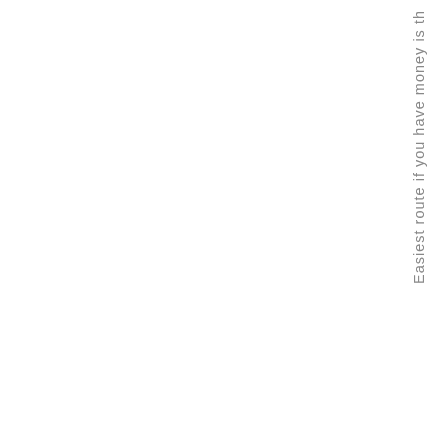Easiest route if you have money is th